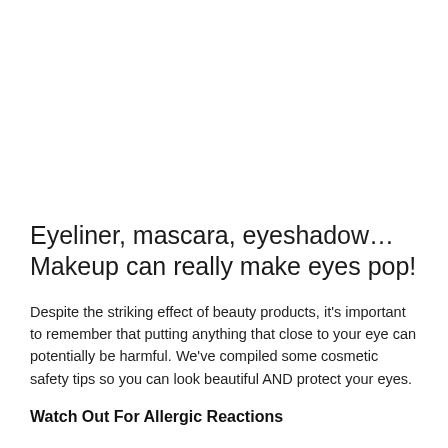Eyeliner, mascara, eyeshadow… Makeup can really make eyes pop!
Despite the striking effect of beauty products, it's important to remember that putting anything that close to your eye can potentially be harmful. We've compiled some cosmetic safety tips so you can look beautiful AND protect your eyes.
Watch Out For Allergic Reactions